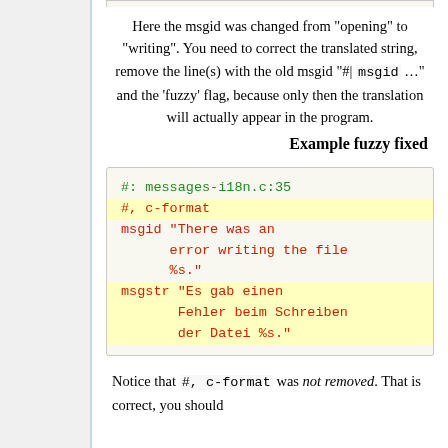Here the msgid was changed from "opening" to "writing". You need to correct the translated string, remove the line(s) with the old msgid "#| msgid …" and the 'fuzzy' flag, because only then the translation will actually appear in the program.
Example fuzzy fixed
[Figure (screenshot): Code block showing a PO file entry with green comment line '#: messages-i18n.c:35', yellow-highlighted '#, c-format' line, red msgid line 'There was an error writing the file %s.', and yellow-highlighted red msgstr line 'Es gab einen Fehler beim Schreiben der Datei %s.']
Notice that #, c-format was not removed. That is correct, you should